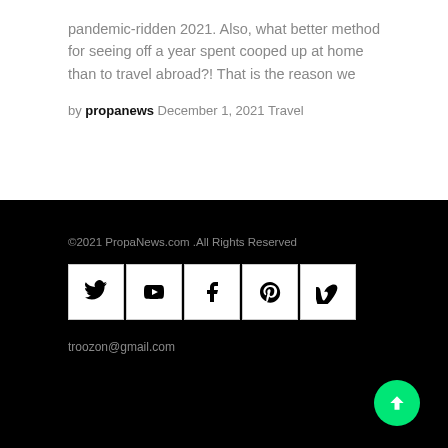pandemic-ridden 2021. Also, what better method for seeing off a year spent cooped up at home than to travel abroad?! That is the reason we
by propanews December 1, 2021 Travel
©2021 PropaNews.com .All Rights Reserved
[Figure (other): Social media icons: Twitter, YouTube, Facebook, Pinterest, Vimeo]
troozon@gmail.com